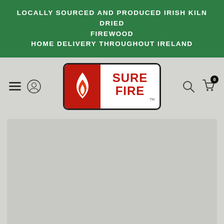LOCALLY SOURCED AND PRODUCED IRISH KILN DRIED FIREWOOD
HOME DELIVERY THROUGHOUT IRELAND
[Figure (logo): Sure Fire logo: red square with white flame icon on left, red text SURE FIRE on white right side, all inside rounded rectangle border]
[Figure (illustration): Light gray placeholder content area below the navigation bar]